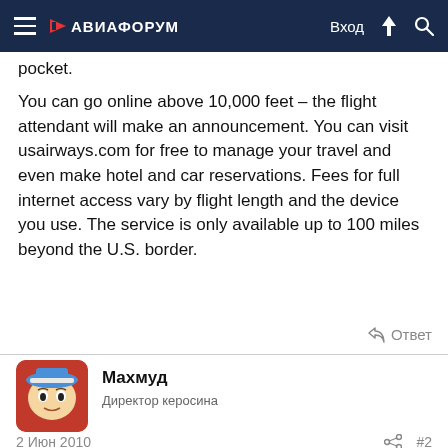≡ АВИАФОРУМ | Вход ⚡ 🔍
pocket.
You can go online above 10,000 feet – the flight attendant will make an announcement. You can visit usairways.com for free to manage your travel and even make hotel and car reservations. Fees for full internet access vary by flight length and the device you use. The service is only available up to 100 miles beyond the U.S. border.
↩ Ответ
Махмуд
Директор керосина
2 Июн 2010
#2
Рах сказал(а): ⬆